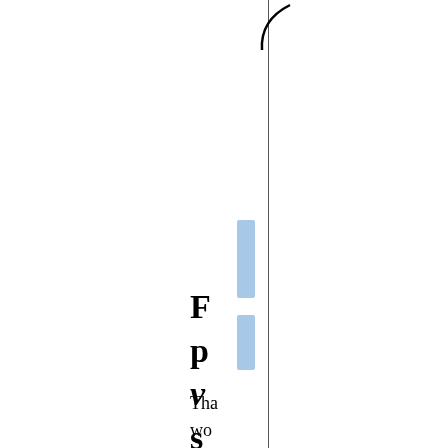[Figure (other): Partial view of a curved parenthesis bracket at top right, with a vertical rule line running down the page]
[Figure (bar-chart): Two vertical blue rectangular bars stacked vertically along the center-left of the page]
F
p
v
s
Tha
wo
be
kin